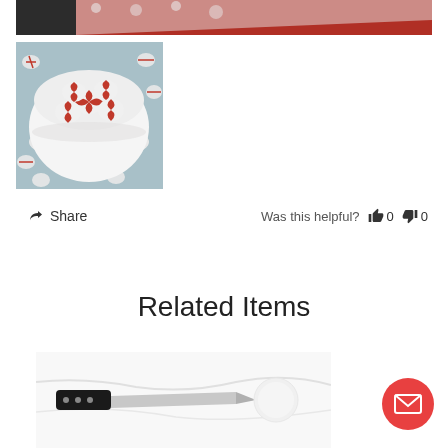[Figure (photo): Top portion of a cutting board scene with a knife and candy, cropped to a narrow strip]
[Figure (photo): Bowl filled with red and white peppermint candies, with more candies scattered on a light blue surface around it]
Share   Was this helpful?  👍 0  👎 0
Related Items
[Figure (photo): Knife and white round object on a marble/white surface, product image]